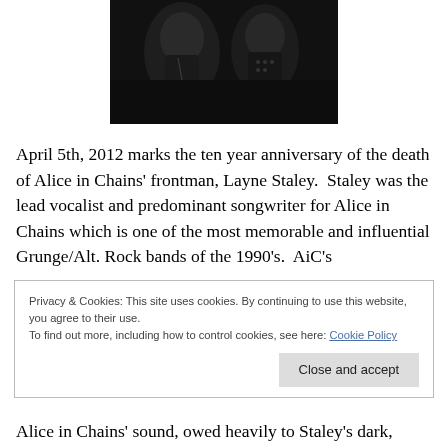[Figure (photo): Black and white photo of two people, likely musicians, in dark clothing. The image is cropped and shows figures with dark/leather attire.]
April 5th, 2012 marks the ten year anniversary of the death of Alice in Chains' frontman, Layne Staley.  Staley was the lead vocalist and predominant songwriter for Alice in Chains which is one of the most memorable and influential Grunge/Alt. Rock bands of the 1990's.  AiC's
Privacy & Cookies: This site uses cookies. By continuing to use this website, you agree to their use.
To find out more, including how to control cookies, see here: Cookie Policy
Alice in Chains' sound, owed heavily to Staley's dark,